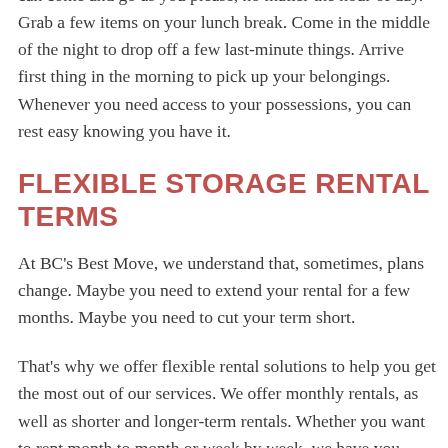can come and go as you please, no matter the hour of day. Grab a few items on your lunch break. Come in the middle of the night to drop off a few last-minute things. Arrive first thing in the morning to pick up your belongings. Whenever you need access to your possessions, you can rest easy knowing you have it.
FLEXIBLE STORAGE RENTAL TERMS
At BC's Best Move, we understand that, sometimes, plans change. Maybe you need to extend your rental for a few months. Maybe you need to cut your term short.
That's why we offer flexible rental solutions to help you get the most out of our services. We offer monthly rentals, as well as shorter and longer-term rentals. Whether you want to rent month to month or week by week, we have you